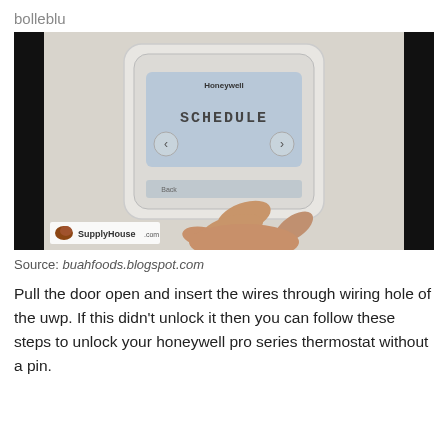bolleblu
[Figure (photo): A Honeywell thermostat mounted on a white wall, displaying 'SCHEDULE' on its LCD screen with left and right arrow buttons. A hand with fingers is pressing the bottom of the thermostat. A SupplyHouse.com logo is visible in the bottom-left corner of the image.]
Source: buahfoods.blogspot.com
Pull the door open and insert the wires through wiring hole of the uwp. If this didn't unlock it then you can follow these steps to unlock your honeywell pro series thermostat without a pin.